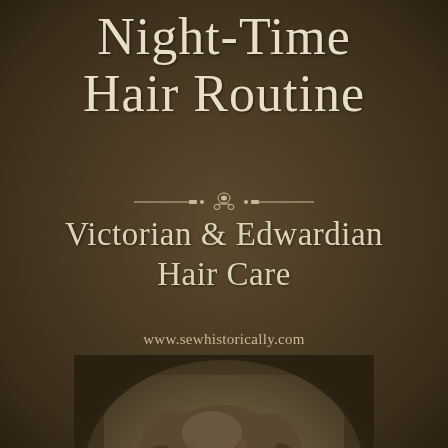Night-Time Hair Routine
[Figure (illustration): Decorative Victorian ornamental divider with floral/leaf motif in center flanked by horizontal lines]
Victorian & Edwardian Hair Care
www.sewhistorically.com
[Figure (photo): Sepia-toned Victorian/Edwardian portrait photograph of a young woman with long curly hair, looking slightly to the side]